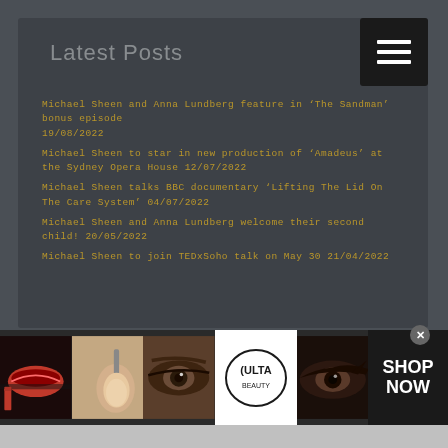Latest Posts
Michael Sheen and Anna Lundberg feature in ‘The Sandman’ bonus episode 19/08/2022
Michael Sheen to star in new production of ‘Amadeus’ at the Sydney Opera House 12/07/2022
Michael Sheen talks BBC documentary ‘Lifting The Lid On The Care System’ 04/07/2022
Michael Sheen and Anna Lundberg welcome their second child! 20/05/2022
Michael Sheen to join TEDxSoho talk on May 30 21/04/2022
[Figure (photo): Bottom banner with makeup/beauty images including lipstick, makeup brush, eye closeup, Ulta Beauty logo, eye with dramatic liner, and SHOP NOW button]